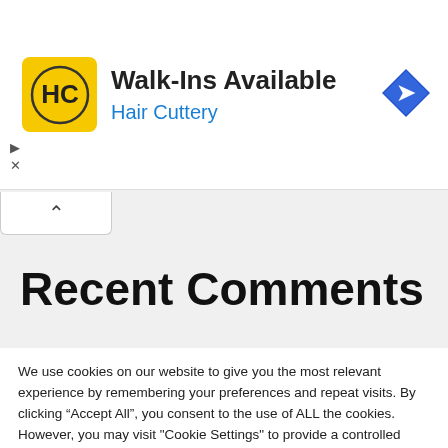[Figure (screenshot): Hair Cuttery advertisement banner with yellow logo showing HC initials, text 'Walk-Ins Available' and 'Hair Cuttery', blue navigation arrow icon on right]
Recent Comments
We use cookies on our website to give you the most relevant experience by remembering your preferences and repeat visits. By clicking “Accept All”, you consent to the use of ALL the cookies. However, you may visit "Cookie Settings" to provide a controlled consent.